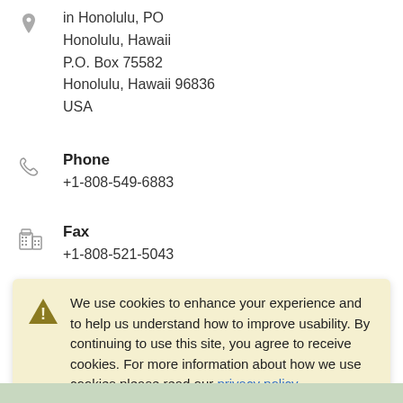in Honolulu, PO
Honolulu, Hawaii
P.O. Box 75582
Honolulu, Hawaii 96836
USA
Phone
+1-808-549-6883
Fax
+1-808-521-5043
Email
PanamaconsulHawaii@aol.com
We use cookies to enhance your experience and to help us understand how to improve usability. By continuing to use this site, you agree to receive cookies. For more information about how we use cookies please read our privacy policy.
OK